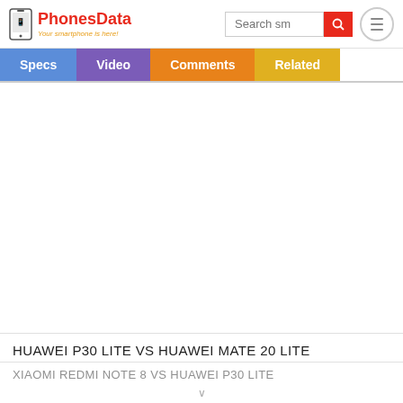PhonesData - Your smartphone is here!
[Figure (screenshot): Navigation bar with Specs, Video, Comments, Related tabs]
[Figure (other): Large white advertisement/content space]
HUAWEI P30 LITE VS HUAWEI MATE 20 LITE
XIAOMI REDMI NOTE 8 VS HUAWEI P30 LITE